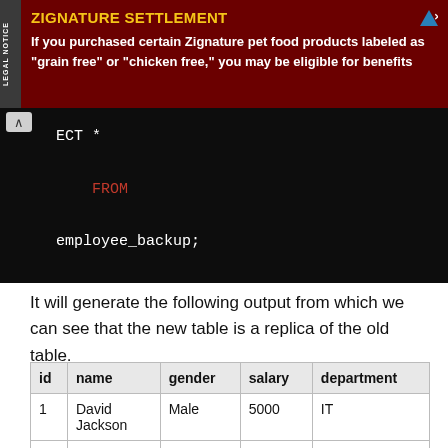[Figure (screenshot): Advertisement banner for Zignature Settlement. Dark red background with yellow title 'ZIGNATURE SETTLEMENT' and white body text: 'If you purchased certain Zignature pet food products labeled as "grain free" or "chicken free," you may be eligible for benefits']
[Figure (screenshot): SQL code block on dark background showing: SELECT * FROM employee_backup;]
It will generate the following output from which we can see that the new table is a replica of the old table.
| id | name | gender | salary | department |
| --- | --- | --- | --- | --- |
| 1 | David Jackson | Male | 5000 | IT |
| 2 | Jim Jameson | Female | 6000 | HR |
| 3 | Kate Johnson | Female | 7500 | IT |